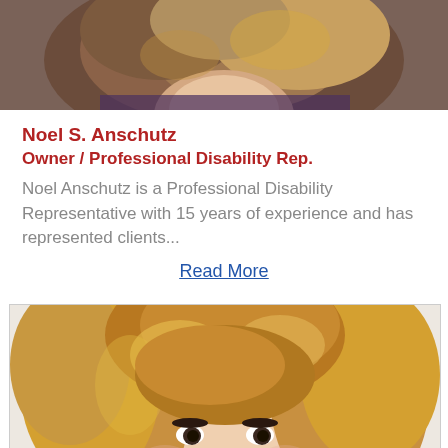[Figure (photo): Cropped top portion of a person with brown/blonde hair, partial face view, against a light background.]
Noel S. Anschutz
Owner / Professional Disability Rep.
Noel Anschutz is a Professional Disability Representative with 15 years of experience and has represented clients...
Read More
[Figure (photo): Portrait photo of a smiling young woman with strawberry blonde/golden wavy hair, light skin, and a nose piercing, against a light background.]